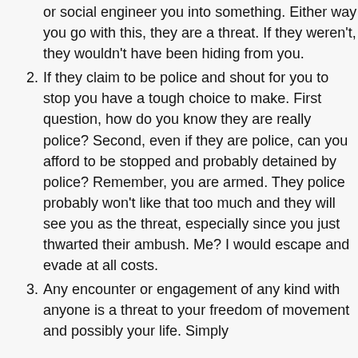(continuation) or social engineer you into something. Either way you go with this, they are a threat. If they weren't, they wouldn't have been hiding from you.
2. If they claim to be police and shout for you to stop you have a tough choice to make. First question, how do you know they are really police? Second, even if they are police, can you afford to be stopped and probably detained by police? Remember, you are armed. They police probably won't like that too much and they will see you as the threat, especially since you just thwarted their ambush. Me? I would escape and evade at all costs.
3. Any encounter or engagement of any kind with anyone is a threat to your freedom of movement and possibly your life. Simply